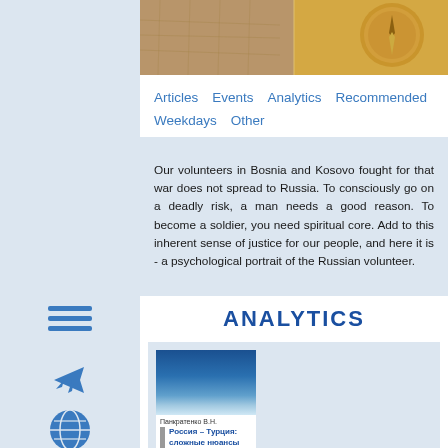[Figure (photo): Top banner image showing an antique map with a compass]
Articles   Events   Analytics   Recommended   Weekdays   Other
Our volunteers in Bosnia and Kosovo fought for that war does not spread to Russia. To consciously go on a deadly risk, a man needs a good reason. To become a soldier, you need spiritual core. Add to this inherent sense of justice for our people, and here it is - a psychological portrait of the Russian volunteer.
ANALYTICS
[Figure (photo): Book cover showing globe graphic with Russian text 'Россия – Турция: сложные нюансы' by Панкратенко В.Н.]